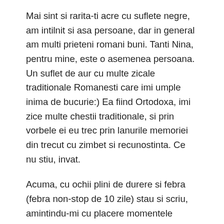Mai sint si rarita-ti acre cu suflete negre, am intilnit si asa persoane, dar in general am multi prieteni romani buni. Tanti Nina, pentru mine, este o asemenea persoana. Un suflet de aur cu multe zicale traditionale Romanesti care imi umple inima de bucurie:) Ea fiind Ortodoxa, imi zice multe chestii traditionale, si prin vorbele ei eu trec prin lanurile memoriei din trecut cu zimbet si recunostinta. Ce nu stiu, invat.
Acuma, cu ochii plini de durere si febra (febra non-stop de 10 zile) stau si scriu, amintindu-mi cu placere momentele petrecute printre Romanii din America, un group de oameni cu doua tari, cu doua culturi dar cu inimi mari.
Imi aduc aminte, atit eu cit si Chet, cu placere de o secventa cu ceva ani in urma-Alex avea 10 luni- cind ne-